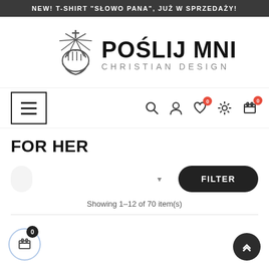NEW! T-SHIRT "SŁOWO PANA", JUŻ W SPRZEDAŻY!
[Figure (logo): Poślij Mnie! Christian Design logo with illustrated hands and cross, black and grey text]
FOR HER
Showing 1–12 of 70 item(s)